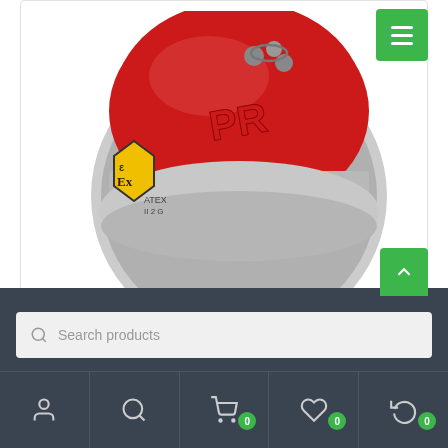[Figure (photo): Red and silver industrial temperature transmitter head-mounted device with PR branding and ATEX explosion-proof certification logo (yellow hexagon with Ex symbol)]
$307.00
Add to Wishlist
Compare
Search products
[Figure (illustration): User account icon (person silhouette)]
[Figure (illustration): Search/magnifier icon]
[Figure (illustration): Shopping cart icon with badge showing 0]
[Figure (illustration): Wishlist/heart icon with badge showing 0]
[Figure (illustration): Compare/refresh icon with badge showing 0]